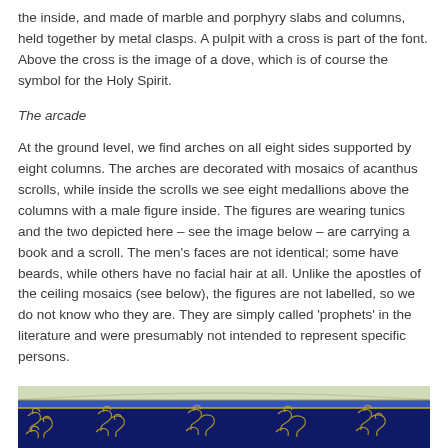the inside, and made of marble and porphyry slabs and columns, held together by metal clasps. A pulpit with a cross is part of the font. Above the cross is the image of a dove, which is of course the symbol for the Holy Spirit.
The arcade
At the ground level, we find arches on all eight sides supported by eight columns. The arches are decorated with mosaics of acanthus scrolls, while inside the scrolls we see eight medallions above the columns with a male figure inside. The figures are wearing tunics and the two depicted here – see the image below – are carrying a book and a scroll. The men's faces are not identical; some have beards, while others have no facial hair at all. Unlike the apostles of the ceiling mosaics (see below), the figures are not labelled, so we do not know who they are. They are simply called 'prophets' in the literature and were presumably not intended to represent specific persons.
[Figure (photo): Bottom portion of a mosaic showing blue decorative bands with golden acanthus scroll patterns on a dark blue background, curved architectural element visible at top.]